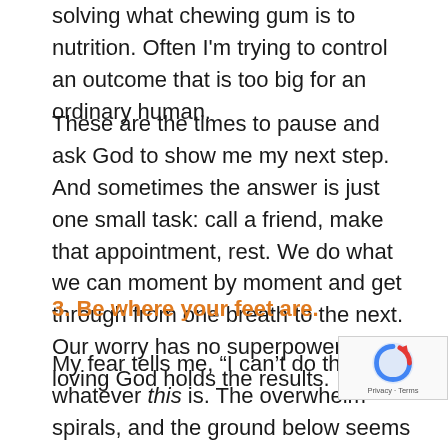solving what chewing gum is to nutrition. Often I'm trying to control an outcome that is too big for an ordinary human.
These are the times to pause and ask God to show me my next step. And sometimes the answer is just one small task: call a friend, make that appointment, rest. We do what we can moment by moment and get through from one breath to the next. Our worry has no superpowers; a loving God holds the results.
3. Be where your feet are.
My fear tells me, “I can’t do this,” whatever this is. The overwhelm spirals, and the ground below seems to liquify. It helps to slowly inhale and gently bring myself back to the here and now—not next week when this might happen, last month when that should’ve happened—but right here w… God is waiting to help. I’m always surprised that, most of the